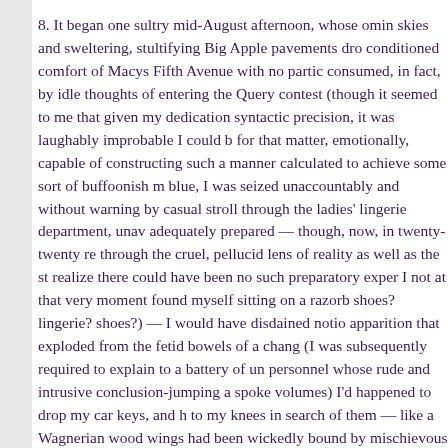8. It began one sultry mid-August afternoon, whose omin skies and sweltering, stultifying Big Apple pavements dro conditioned comfort of Macys Fifth Avenue with no partic consumed, in fact, by idle thoughts of entering the Query contest (though it seemed to me that given my dedication syntactic precision, it was laughably improbable I could b for that matter, emotionally, capable of constructing such a manner calculated to achieve some sort of buffoonish m blue, I was seized unaccountably and without warning by casual stroll through the ladies' lingerie department, unav adequately prepared — though, now, in twenty-twenty re through the cruel, pellucid lens of reality as well as the st realize there could have been no such preparatory exper I not at that very moment found myself sitting on a razorb shoes? lingerie? shoes?) — I would have disdained notio apparition that exploded from the fetid bowels of a chang (I was subsequently required to explain to a battery of un personnel whose rude and intrusive conclusion-jumping a spoke volumes) I'd happened to drop my car keys, and h to my knees in search of them — like a Wagnerian wood wings had been wickedly bound by mischievous gods an